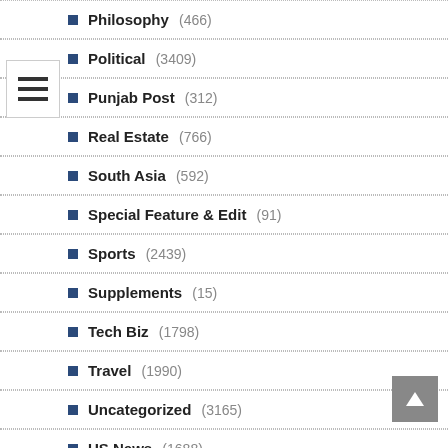Philosophy (466)
Political (3409)
Punjab Post (312)
Real Estate (766)
South Asia (592)
Special Feature & Edit (91)
Sports (2439)
Supplements (15)
Tech Biz (1798)
Travel (1990)
Uncategorized (3165)
US News (1688)
Video Gallery (1)
Wellness (2467)